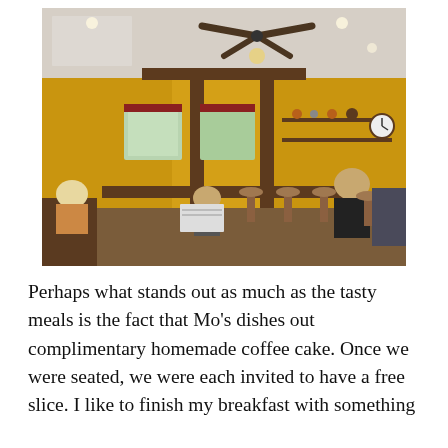[Figure (photo): Interior of a restaurant with yellow walls, wooden beams, ceiling fans, and pendant lights. Booths and bar-height seating with customers dining. Shelves with decorative items line the walls.]
Perhaps what stands out as much as the tasty meals is the fact that Mo's dishes out complimentary homemade coffee cake. Once we were seated, we were each invited to have a free slice. I like to finish my breakfast with something